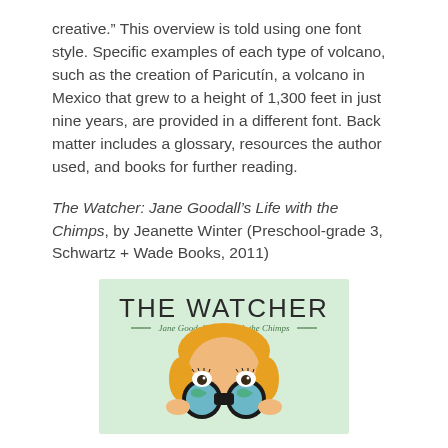creative.” This overview is told using one font style. Specific examples of each type of volcano, such as the creation of Paricutín, a volcano in Mexico that grew to a height of 1,300 feet in just nine years, are provided in a different font. Back matter includes a glossary, resources the author used, and books for further reading.
The Watcher: Jane Goodall’s Life with the Chimps, by Jeanette Winter (Preschool-grade 3, Schwartz + Wade Books, 2011)
[Figure (illustration): Book cover of 'The Watcher: Jane Goodall's Life with the Chimps' showing a illustrated figure with blonde hair holding binoculars up to her face, on a light green background. Title text 'THE WATCHER' in large letters and subtitle 'Jane Goodall's Life with the Chimps' below it.]